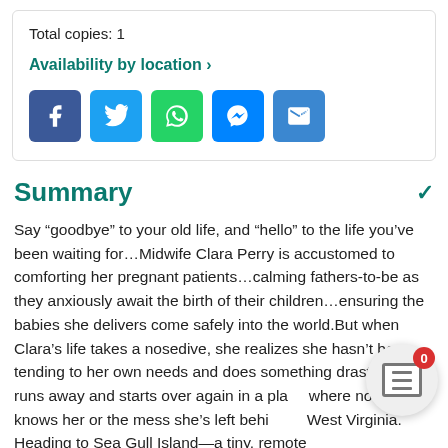Total copies: 1
Availability by location >
[Figure (other): Social sharing buttons: Facebook, Twitter, WhatsApp, Messenger, Email]
Summary
Say “goodbye” to your old life, and “hello” to the life you’ve been waiting for…Midwife Clara Perry is accustomed to comforting her pregnant patients…calming fathers-to-be as they anxiously await the birth of their children…ensuring the babies she delivers come safely into the world.But when Clara’s life takes a nosedive, she realizes she hasn’t been tending to her own needs and does something drastic: she runs away and starts over again in a place where no one knows her or the mess she’s left behind in West Virginia. Heading to Sea Gull Island—a tiny, remote